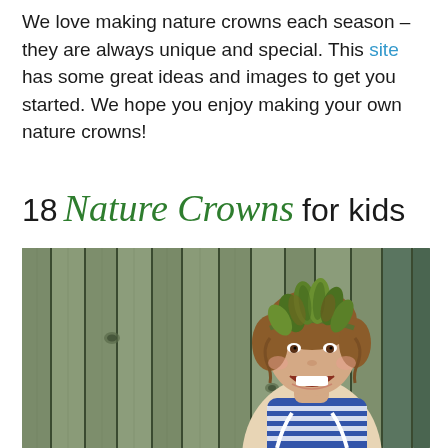We love making nature crowns each season – they are always unique and special. This site has some great ideas and images to get you started. We hope you enjoy making your own nature crowns!
18 Nature Crowns for kids
[Figure (photo): A smiling young child wearing a leafy green nature crown, standing in front of a wooden fence. The child has brown wavy hair and is wearing a blue and white striped shirt.]